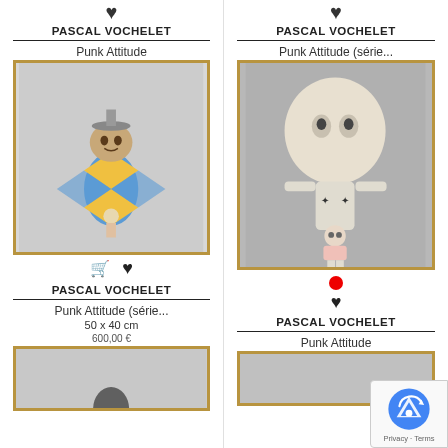♥
PASCAL VOCHELET
Punk Attitude
[Figure (photo): Framed artwork showing a dog in a harlequin costume holding a small figure, on a grey patterned background]
♥
PASCAL VOCHELET
Punk Attitude (série...
50 x 40 cm
[Figure (photo): Framed artwork partially visible at bottom, appears to show a dark figure on patterned background]
♥
PASCAL VOCHELET
Punk Attitude (série...
[Figure (photo): Framed artwork showing a large-headed figure holding a smaller figure, on grey background]
●
♥
PASCAL VOCHELET
Punk Attitude
[Figure (photo): Framed artwork partially visible at bottom]